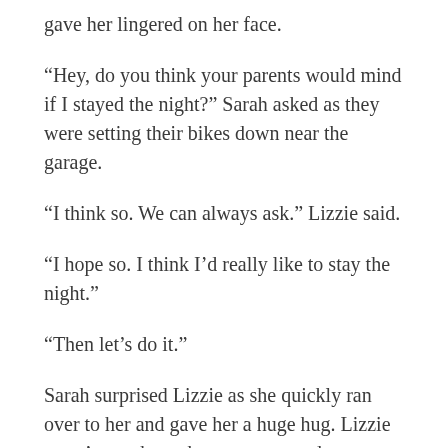gave her lingered on her face.
“Hey, do you think your parents would mind if I stayed the night?” Sarah asked as they were setting their bikes down near the garage.
“I think so. We can always ask.” Lizzie said.
“I hope so. I think I’d really like to stay the night.”
“Then let’s do it.”
Sarah surprised Lizzie as she quickly ran over to her and gave her a huge hug. Lizzie wasn’t sure how she was supposed to react, so she went with it, and returned it. When Sarah pulled away, there were more tears and Lizzie barely heard her whisper, “Thank you.”